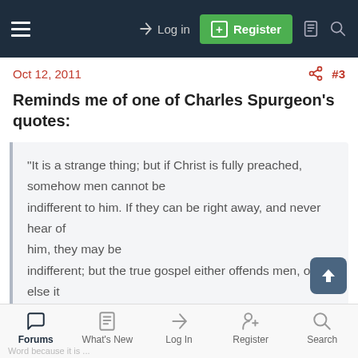Log in | Register
Oct 12, 2011  #3
Reminds me of one of Charles Spurgeon's quotes:
"It is a strange thing; but if Christ is fully preached, somehow men cannot be indifferent to him. If they can be right away, and never hear of him, they may be indifferent; but the true gospel either offends men, or else it charms them."
Forums | What's New | Log In | Register | Search